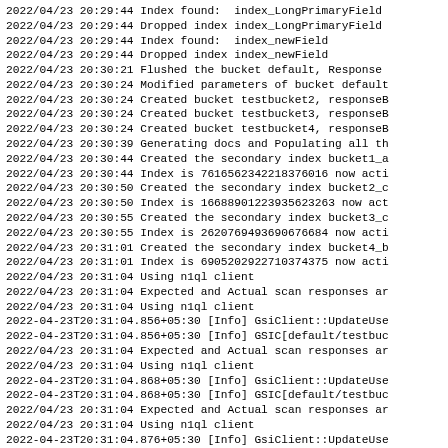2022/04/23 20:29:44 Index found:  index_LongPrimaryField
2022/04/23 20:29:44 Dropped index index_LongPrimaryField
2022/04/23 20:29:44 Index found:  index_newField
2022/04/23 20:29:44 Dropped index index_newField
2022/04/23 20:30:21 Flushed the bucket default, Response
2022/04/23 20:30:24 Modified parameters of bucket default
2022/04/23 20:30:24 Created bucket testbucket2, responseB
2022/04/23 20:30:24 Created bucket testbucket3, responseB
2022/04/23 20:30:24 Created bucket testbucket4, responseB
2022/04/23 20:30:39 Generating docs and Populating all th
2022/04/23 20:30:44 Created the secondary index bucket1_a
2022/04/23 20:30:44 Index is 7616562342218376016 now acti
2022/04/23 20:30:50 Created the secondary index bucket2_c
2022/04/23 20:30:50 Index is 16688901223935623263 now act
2022/04/23 20:30:55 Created the secondary index bucket3_c
2022/04/23 20:30:55 Index is 2620769493690676684 now acti
2022/04/23 20:31:01 Created the secondary index bucket4_b
2022/04/23 20:31:01 Index is 6905202922710374375 now acti
2022/04/23 20:31:04 Using n1ql client
2022/04/23 20:31:04 Expected and Actual scan responses ar
2022/04/23 20:31:04 Using n1ql client
2022-04-23T20:31:04.856+05:30 [Info] GsiClient::UpdateUse
2022-04-23T20:31:04.856+05:30 [Info] GSIC[default/testbuc
2022/04/23 20:31:04 Expected and Actual scan responses ar
2022/04/23 20:31:04 Using n1ql client
2022-04-23T20:31:04.868+05:30 [Info] GsiClient::UpdateUse
2022-04-23T20:31:04.868+05:30 [Info] GSIC[default/testbuc
2022/04/23 20:31:04 Expected and Actual scan responses ar
2022/04/23 20:31:04 Using n1ql client
2022-04-23T20:31:04.876+05:30 [Info] GsiClient::UpdateUse